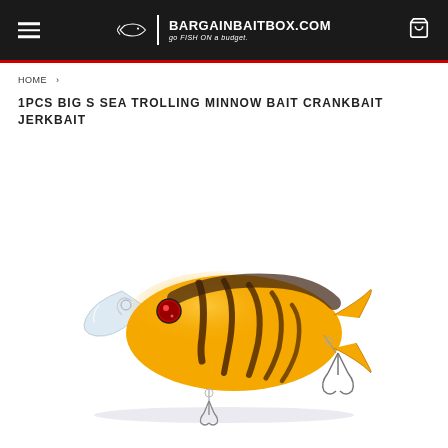BargainBaitBox.com — go FISH ON a budget.
HOME ›
1PCS BIG S SEA TROLLING MINNOW BAIT CRANKBAIT JERKBAIT
[Figure (photo): Yellow and black striped fishing lure crankbait with red eye, clear plastic lip, and silver treble hooks on white background]